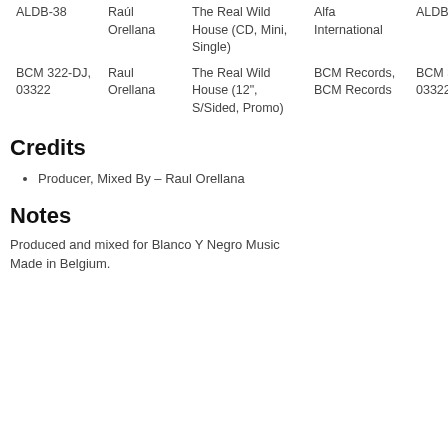| Cat# | Artist | Title / Format | Label | Cat# | Country |
| --- | --- | --- | --- | --- | --- |
| ALDB-38 | Raúl Orellana | The Real Wild House (CD, Mini, Single) | Alfa International | ALDB-38 | Japan |
| BCM 322-DJ, 03322 | Raul Orellana | The Real Wild House (12", S/Sided, Promo) | BCM Records, BCM Records | BCM 322-DJ, 03322 | UK & Europe |
Credits
Producer, Mixed By – Raul Orellana
Notes
Produced and mixed for Blanco Y Negro Music
Made in Belgium.